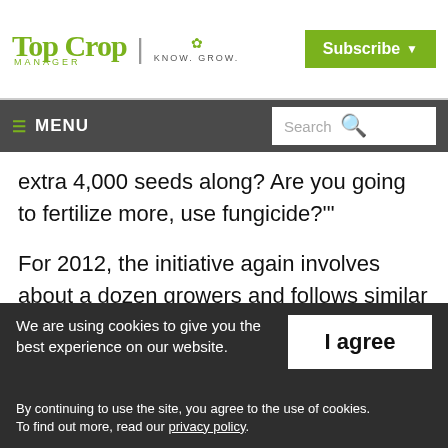Top Crop Manager | Know. Grow.
Subscribe
MENU | Search
extra 4,000 seeds along? Are you going to fertilize more, use fungicide?'"
For 2012, the initiative again involves about a dozen growers and follows similar methods. With the growing season getting off to a much better start than in 2011, Currah is looking
We are using cookies to give you the best experience on our website. By continuing to use the site, you agree to the use of cookies. To find out more, read our privacy policy.